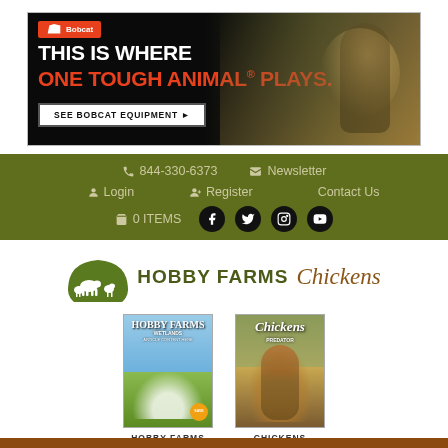[Figure (photo): Bobcat equipment advertisement banner. Black background with text 'THIS IS WHERE' in white and 'ONE TOUGH ANIMAL® PLAYS.' in red/orange. Button reads 'SEE BOBCAT EQUIPMENT ▶'. Right side shows a person on farm equipment outdoors.]
📞 844-330-6373   🗪 Newsletter
👤 Login   👤⁺ Register   Contact Us
🛒 0 ITEMS  [Facebook] [Twitter] [Instagram] [YouTube]
[Figure (logo): Hobby Farms logo: green arch icon with farm animals silhouette, 'HOBBY FARMS' bold text, and 'Chickens' in italic serif font]
[Figure (photo): Hobby Farms magazine cover showing geese/ducks in a field with blue sky]
HOBBY FARMS
[Figure (photo): Chickens magazine cover showing a colorful rooster]
CHICKENS